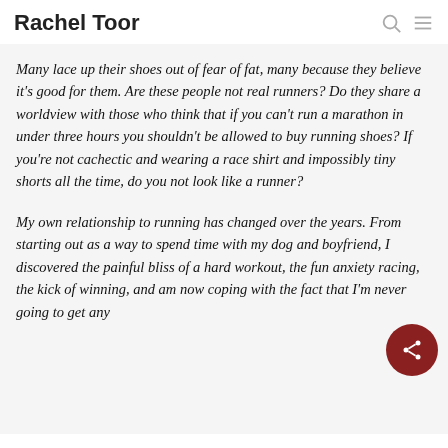Rachel Toor
Many lace up their shoes out of fear of fat, many because they believe it's good for them. Are these people not real runners? Do they share a worldview with those who think that if you can't run a marathon in under three hours you shouldn't be allowed to buy running shoes? If you're not cachectic and wearing a race shirt and impossibly tiny shorts all the time, do you not look like a runner?
My own relationship to running has changed over the years. From starting out as a way to spend time with my dog and boyfriend, I discovered the painful bliss of a hard workout, the fun anxiety racing, the kick of winning, and am now coping with the fact that I'm never going to get any